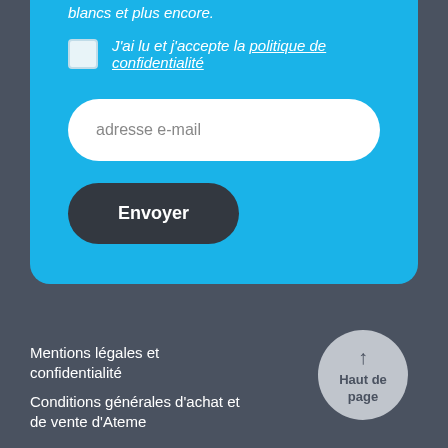blancs et plus encore.
J'ai lu et j'accepte la politique de confidentialité
adresse e-mail
Envoyer
↑ Haut de page
Mentions légales et confidentialité
Conditions générales d'achat et de vente d'Ateme